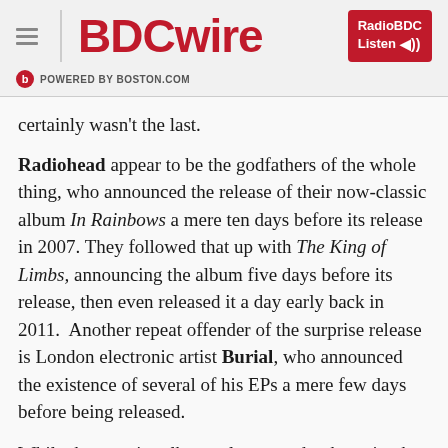BDCwire — POWERED BY BOSTON.COM — RadioBDC Listen
certainly wasn't the last.
Radiohead appear to be the godfathers of the whole thing, who announced the release of their now-classic album In Rainbows a mere ten days before its release in 2007. They followed that up with The King of Limbs, announcing the album five days before its release, then even released it a day early back in 2011.  Another repeat offender of the surprise release is London electronic artist Burial, who announced the existence of several of his EPs a mere few days before being released.
While the surprise album release used to be quite the novelty in the music industry, its effect is growing